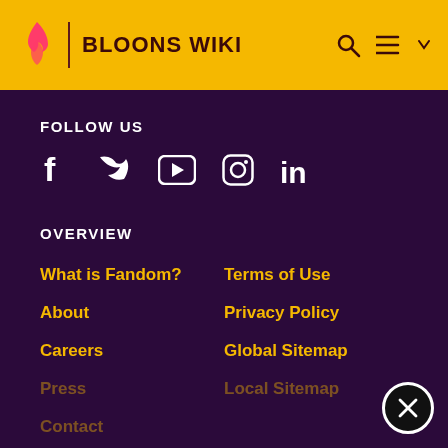BLOONS WIKI
FOLLOW US
[Figure (infographic): Social media icons: Facebook, Twitter, YouTube, Instagram, LinkedIn]
OVERVIEW
What is Fandom?
Terms of Use
About
Privacy Policy
Careers
Global Sitemap
Press
Local Sitemap
Contact